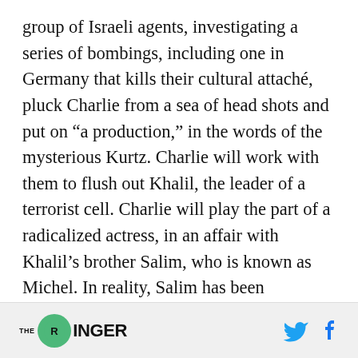group of Israeli agents, investigating a series of bombings, including one in Germany that kills their cultural attaché, pluck Charlie from a sea of head shots and put on “a production,” in the words of the mysterious Kurtz. Charlie will work with them to flush out Khalil, the leader of a terrorist cell. Charlie will play the part of a radicalized actress, in an affair with Khalil’s brother Salim, who is known as Michel. In reality, Salim has been kidnapped by the Israelis, and Joseph, a mysterious and scarred agent, has taken his place. To lure Khalil out of hiding, Joseph and Charlie
THE RINGER